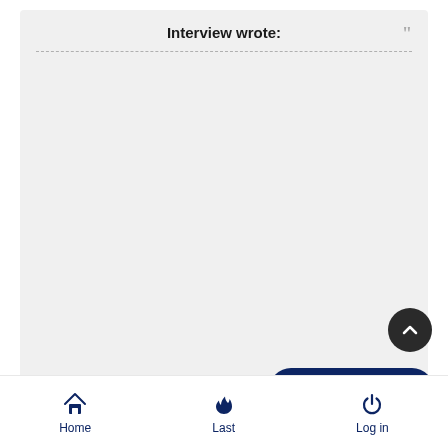Interview wrote:
[Figure (screenshot): Empty quote/reply box with dashed separator and scroll-to-top button]
Reply to topic
Home   Last   Log in